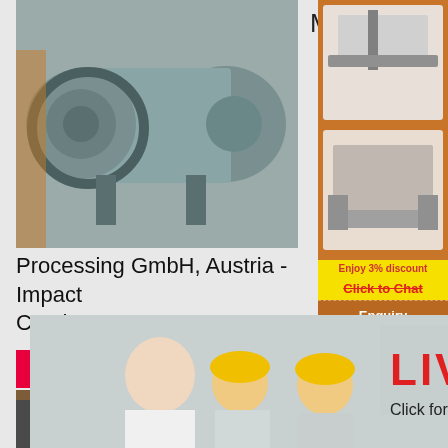[Figure (photo): Industrial ball mill machine in a warehouse/factory setting, gray cylindrical grinder]
Mineral
Processing GmbH, Austria - Impact Crusher
[Figure (photo): Live chat popup with smiling woman in white shirt and workers in yellow hard hats behind her. Red text: LIVE CHAT. Subtitle: Click for a Free Consultation. Buttons: Chat now (red/pink) and Chat later (dark gray).]
Read more
[Figure (photo): Close-up of large industrial gear and cylindrical shaft machinery]
[Figure (photo): Sidebar: orange background with crusher/mining machine images]
Enjoy 3% discount
Click to Chat
Enquiry
limingjlmofen@sina.com
Portable